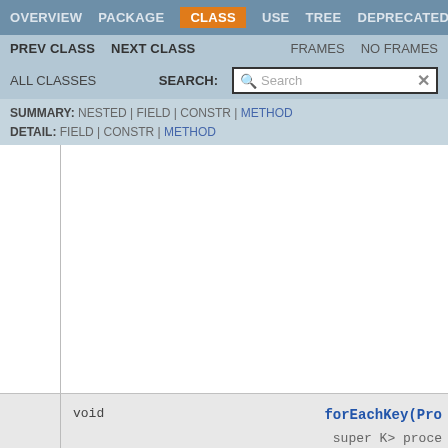OVERVIEW  PACKAGE  CLASS  USE  TREE  DEPRECATED
PREV CLASS  NEXT CLASS  FRAMES  NO FRAMES
ALL CLASSES  SEARCH:  [Search]
SUMMARY: NESTED | FIELD | CONSTR | METHOD
DETAIL: FIELD | CONSTR | METHOD
void  forEachKey(Pro...
super K> proce...
void  forEachKeyValue(Procedure2<?
super V> proce...
void  forEachValue(...
super V> proce...